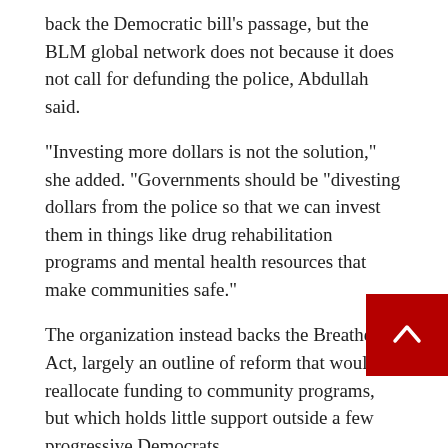back the Democratic bill's passage, but the BLM global network does not because it does not call for defunding the police, Abdullah said.
“Investing more dollars is not the solution,” she added. “Governments should be “divesting dollars from the police so that we can invest them in things like drug rehabilitation programs and mental health resources that make communities safe.”
The organization instead backs the Breathe Act, largely an outline of reform that would reallocate funding to community programs, but which holds little support outside a few progressive Democrats.
Meanwhile, the BLM global network, which said it raised over $90 million last year, continues to make demands on the Biden administration.
In late April, the group launched a campaign to end the